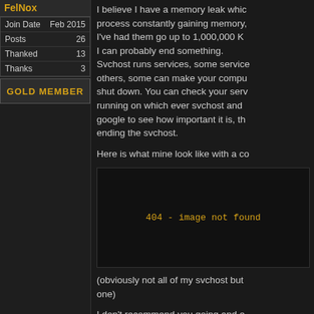FelNox
| Join Date | Feb 2015 |
| Posts | 26 |
| Thanked | 13 |
| Thanks | 3 |
GOLD MEMBER
I believe I have a memory leak which is a process constantly gaining memory, I've had them go up to 1,000,000 K I can probably end something. Svchost runs services, some service others, some can make your compu shut down. You can check your serv running on which ever svchost and google to see how important it is, the ending the svchost.
Here is what mine look like with a co
[Figure (other): 404 - image not found placeholder]
(obviously not all of my svchost but one)
I don't recommend you going and er always do your research. For me, de computer a real boost in performanc